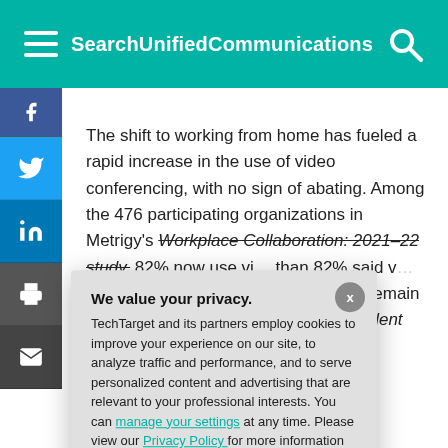SearchUnifiedCommunications
The shift to working from home has fueled a rapid increase in the use of video conferencing, with no sign of abating. Among the 476 participating organizations in Metrigy's Workplace Collaboration: 2021–22 study, 82% now use video conferencing more than 82% said video will continue through the end workplace likely remain an important collaboration going is president and
We value your privacy.
TechTarget and its partners employ cookies to improve your experience on our site, to analyze traffic and performance, and to serve personalized content and advertising that are relevant to your professional interests. You can manage your settings at any time. Please view our Privacy Policy for more information